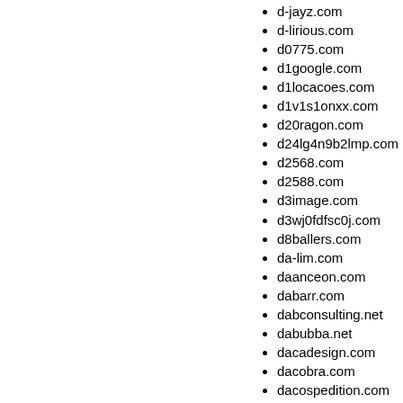d-jayz.com
d-lirious.com
d0775.com
d1google.com
d1locacoes.com
d1v1s1onxx.com
d20ragon.com
d24lg4n9b2lmp.com
d2568.com
d2588.com
d3image.com
d3wj0fdfsc0j.com
d8ballers.com
da-lim.com
daanceon.com
dabarr.com
dabconsulting.net
dabubba.net
dacadesign.com
dacobra.com
dacospedition.com
dadamobiile.com
dadnkids.com
daftcrew.net
daguerre-maree.com
dahacojo.com
dahliasmith.com
dahliasmith.net